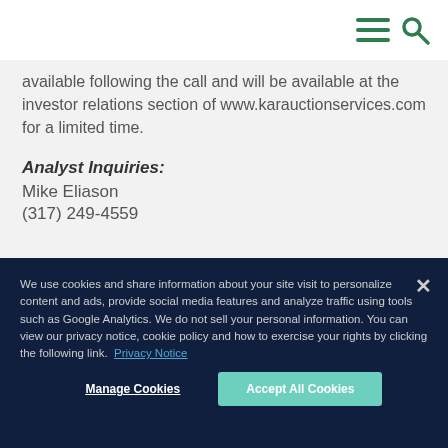[Navigation bar with menu and search icons]
available following the call and will be available at the investor relations section of www.karauctionservices.com for a limited time.
Analyst Inquiries:
Mike Eliason
(317) 249-4559
We use cookies and share information about your site visit to personalize content and ads, provide social media features and analyze traffic using tools such as Google Analytics. We do not sell your personal information. You can view our privacy notice, cookie policy and how to exercise your rights by clicking the following link.  Privacy Notice